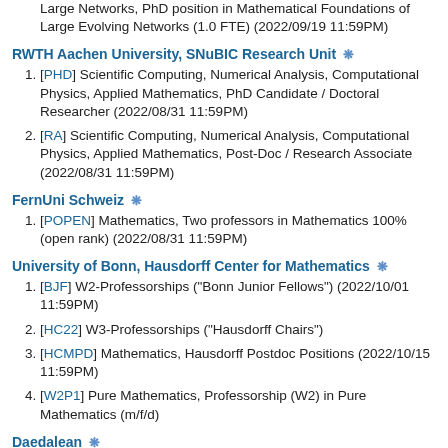Large Networks, PhD position in Mathematical Foundations of Large Evolving Networks (1.0 FTE) (2022/09/19 11:59PM)
RWTH Aachen University, SNuBIC Research Unit
[PHD] Scientific Computing, Numerical Analysis, Computational Physics, Applied Mathematics, PhD Candidate / Doctoral Researcher (2022/08/31 11:59PM)
[RA] Scientific Computing, Numerical Analysis, Computational Physics, Applied Mathematics, Post-Doc / Research Associate (2022/08/31 11:59PM)
FernUni Schweiz
[POPEN] Mathematics, Two professors in Mathematics 100% (open rank) (2022/08/31 11:59PM)
University of Bonn, Hausdorff Center for Mathematics
[BJF] W2-Professorships ("Bonn Junior Fellows") (2022/10/01 11:59PM)
[HC22] W3-Professorships ("Hausdorff Chairs")
[HCMPD] Mathematics, Hausdorff Postdoc Positions (2022/10/15 11:59PM)
[W2P1] Pure Mathematics, Professorship (W2) in Pure Mathematics (m/f/d)
Daedalean